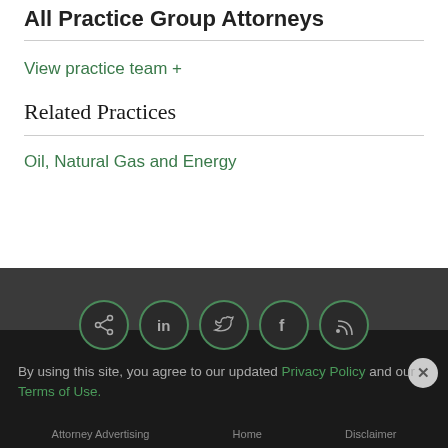All Practice Group Attorneys
View practice team +
Related Practices
Oil, Natural Gas and Energy
[Figure (infographic): Social media icon circles: share, LinkedIn, Twitter, Facebook, RSS feed]
By using this site, you agree to our updated Privacy Policy and our Terms of Use.
Attorney Advertising   Home   Disclaimer